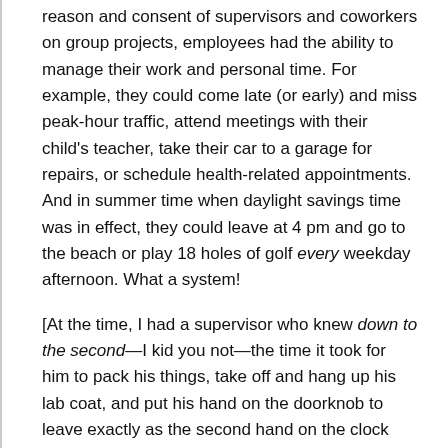reason and consent of supervisors and coworkers on group projects, employees had the ability to manage their work and personal time. For example, they could come late (or early) and miss peak-hour traffic, attend meetings with their child's teacher, take their car to a garage for repairs, or schedule health-related appointments. And in summer time when daylight savings time was in effect, they could leave at 4 pm and go to the beach or play 18 holes of golf every weekday afternoon. What a system!
[At the time, I had a supervisor who knew down to the second—I kid you not—the time it took for him to pack his things, take off and hang up his lab coat, and put his hand on the doorknob to leave exactly as the second hand on the clock passed 5 pm. When flexitime arrived, he no longer knew when it was time to quit, and it took him quite some getting used to.]
Several years later—by which time I'd moved to a different government department—being the entrepreneur, I proposed